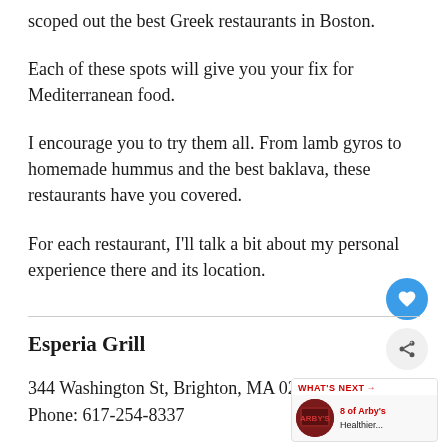scoped out the best Greek restaurants in Boston.
Each of these spots will give you your fix for Mediterranean food.
I encourage you to try them all. From lamb gyros to homemade hummus and the best baklava, these restaurants have you covered.
For each restaurant, I’ll talk a bit about my personal experience there and its location.
Esperia Grill
344 Washington St, Brighton, MA 02135
Phone: 617-254-8337